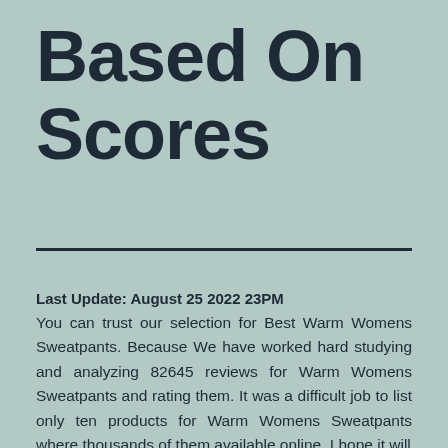Based On Scores
Last Update: August 25 2022 23PM
You can trust our selection for Best Warm Womens Sweatpants. Because We have worked hard studying and analyzing 82645 reviews for Warm Womens Sweatpants and rating them. It was a difficult job to list only ten products for Warm Womens Sweatpants where thousands of them available online. I hope it will